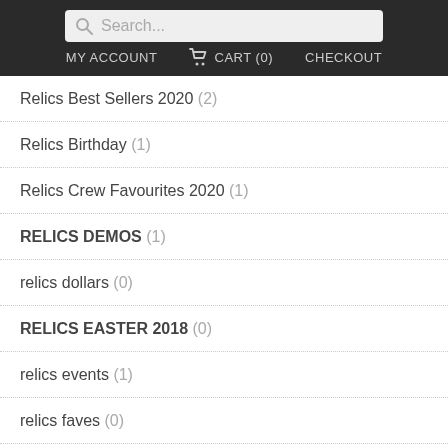Search... | MY ACCOUNT  CART (0)  CHECKOUT
Relics Best Sellers 2020 (2)
Relics Birthday (1)
Relics Crew Favourites 2020 (1)
RELICS DEMOS (1)
relics dollars (0)
RELICS EASTER 2018 (0)
relics events (1)
relics faves (0)
relics faves 2018 (1)
relics favourites (0)
RELICS HIFI (3)
Relics HIFI December Combo 2021 (1)